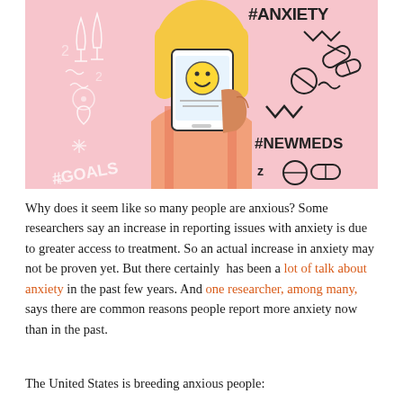[Figure (illustration): Illustration on a pink background showing a person with yellow/blonde hair holding a smartphone up to their face. The phone screen shows a smiley face emoji. On the left side are white hand-drawn icons including wine glasses, a heart, and the text '#GOALS'. On the right side are hand-drawn pill/capsule shapes, a zigzag line, and the hashtags '#ANXIETY' and '#NEWMEDS' in bold handwritten text.]
Why does it seem like so many people are anxious? Some researchers say an increase in reporting issues with anxiety is due to greater access to treatment. So an actual increase in anxiety may not be proven yet. But there certainly has been a lot of talk about anxiety in the past few years. And one researcher, among many, says there are common reasons people report more anxiety now than in the past.
The United States is breeding anxious people: